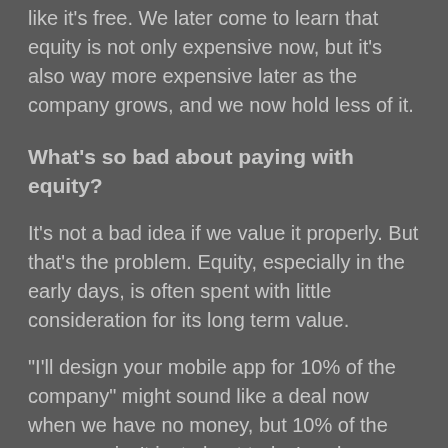like it's free. We later come to learn that equity is not only expensive now, but it's also way more expensive later as the company grows, and we now hold less of it.
What's so bad about paying with equity?
It's not a bad idea if we value it properly. But that's the problem. Equity, especially in the early days, is often spent with little consideration for its long term value.
"I'll design your mobile app for 10% of the company" might sound like a deal now when we have no money, but 10% of the company isn't just about today's value — that's 10% of the company FOREVAHHHHHHH.